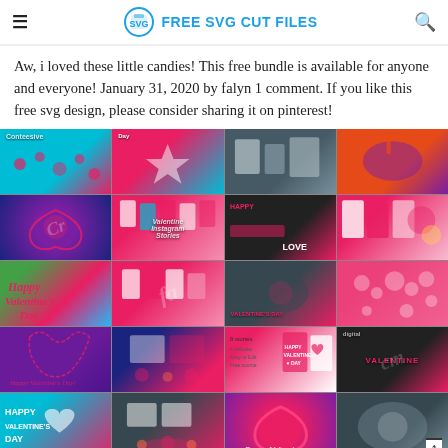FREE SVG CUT FILES
Aw, i loved these little candies! This free bundle is available for anyone and everyone! January 31, 2020 by falyn 1 comment. If you like this free svg design, please consider sharing it on pinterest!
[Figure (photo): Grid of Valentine's Day themed SVG design thumbnails including hearts, couples, neon effects, Instagram story templates, and holiday graphics in pink, red, teal, and purple color schemes.]